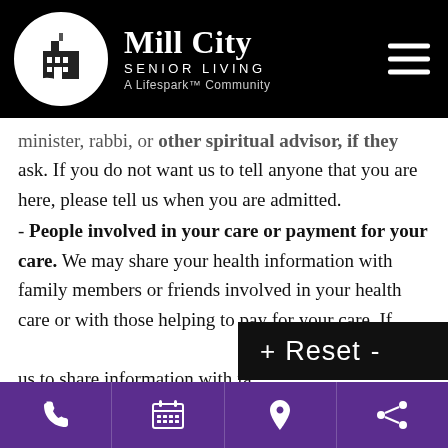Mill City SENIOR LIVING A Lifespark™ Community
minister, rabbi, or other spiritual advisor, if they ask. If you do not want us to tell anyone that you are here, please tell us when you are admitted.
- People involved in your care or payment for your care. We may share your health information with family members or friends involved in your health care or with those helping to pay for your care. If you do not want us to share information with family members or friends involved in your care, please tell us upon
[Figure (screenshot): Black toolbar overlay showing '+ Reset -' text in white on black background]